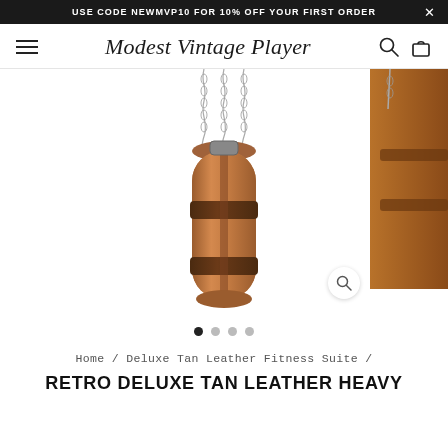USE CODE NEWMVP10 FOR 10% OFF YOUR FIRST ORDER
[Figure (logo): Modest Vintage Player script logo in nav bar with hamburger menu, search icon, and bag icon]
[Figure (photo): Retro tan leather heavy punching bag hanging from silver chains on white background, with a partial view of another leather item on the right side]
Home / Deluxe Tan Leather Fitness Suite /
RETRO DELUXE TAN LEATHER HEAVY